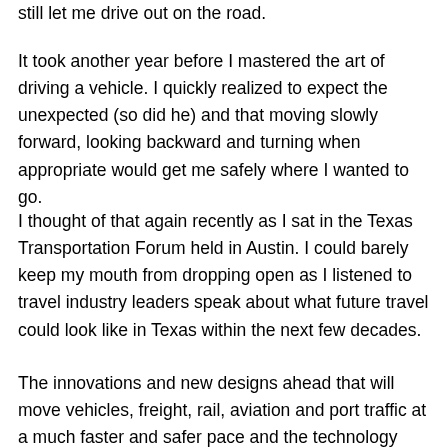still let me drive out on the road.
It took another year before I mastered the art of driving a vehicle. I quickly realized to expect the unexpected (so did he) and that moving slowly forward, looking backward and turning when appropriate would get me safely where I wanted to go.
I thought of that again recently as I sat in the Texas Transportation Forum held in Austin. I could barely keep my mouth from dropping open as I listened to travel industry leaders speak about what future travel could look like in Texas within the next few decades.
The innovations and new designs ahead that will move vehicles, freight, rail, aviation and port traffic at a much faster and safer pace and the technology designed to make that happen is awesome. They referred to vehicles as “deathless” and “autonomous.” Faster rails, bullet trains, freight systems